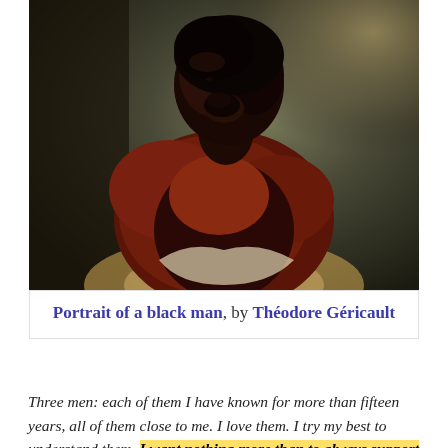[Figure (illustration): Oil painting 'Portrait of a black man' by Théodore Géricault, showing a dark-skinned man from the torso up, looking upward to the left, with dark background and dark red/brown clothing falling off the shoulders.]
Portrait of a black man, by Théodore Géricault
Three men: each of them I have known for more than fifteen years, all of them close to me. I love them. I try my best to understand them. I want nothing more than to always support them. And I pray that this world sees the beauty in them just